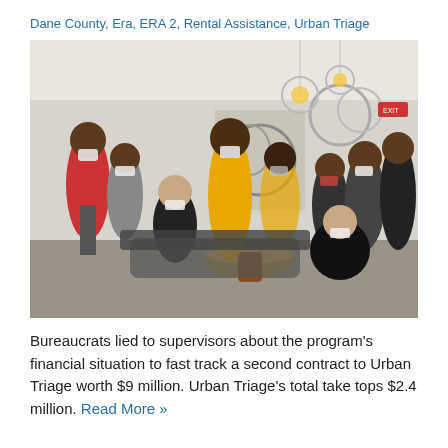Dane County, Era, ERA 2, Rental Assistance, Urban Triage
[Figure (photo): Group photo of approximately 15 people wearing face masks gathered in a modern office or meeting room, some seated and some standing, with decorative pendant lights and abstract wall art visible in the background. A woman in a yellow dress stands at center.]
Bureaucrats lied to supervisors about the program's financial situation to fast track a second contract to Urban Triage worth $9 million. Urban Triage's total take tops $2.4 million. Read More »